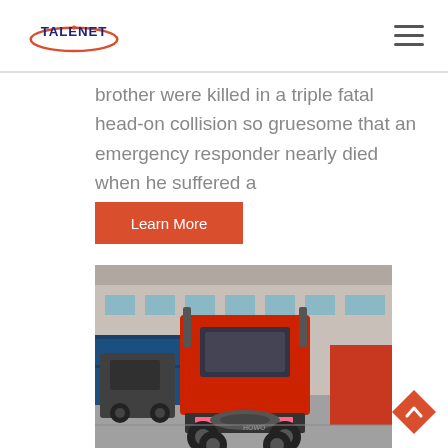TALENET
brother were killed in a triple fatal head-on collision so gruesome that an emergency responder nearly died when he suffered a
Learn More
[Figure (photo): Rear view of a red truck tractor (HOWO brand) parked in a warehouse/depot area with blue cargo containers and other trucks visible in the background.]
[Figure (other): Orange diamond-shaped back-to-top button with white upward chevron arrow]